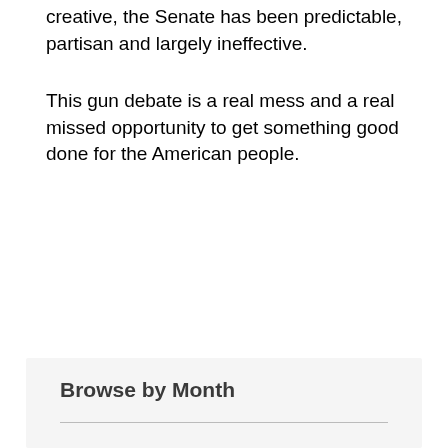creative, the Senate has been predictable, partisan and largely ineffective.
This gun debate is a real mess and a real missed opportunity to get something good done for the American people.
<< Prev   Next >>
Browse by Month